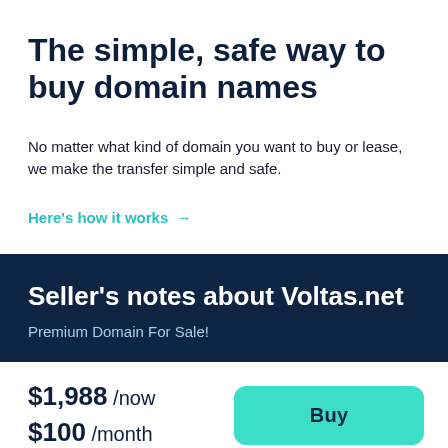The simple, safe way to buy domain names
No matter what kind of domain you want to buy or lease, we make the transfer simple and safe.
Here's how it works →
Seller's notes about Voltas.net
Premium Domain For Sale!
$1,988 /now
$100 /month
Buy